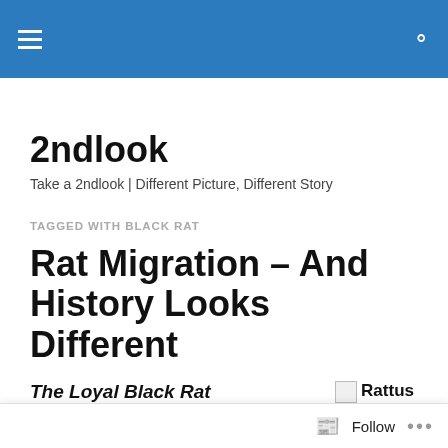2ndlook site header navigation bar
2ndlook
Take a 2ndlook | Different Picture, Different Story
TAGGED WITH BLACK RAT
Rat Migration – And History Looks Different
The Loyal Black Rat
[Figure (illustration): Small broken image placeholder icon followed by 'Rattus' text label]
Rattus
On February 1st, 2008, a report by an
Follow